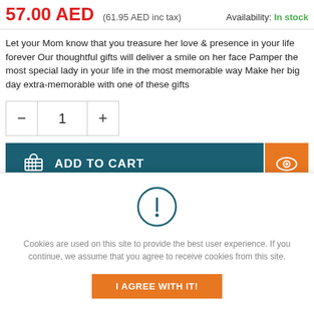57.00 AED (61.95 AED inc tax) Availability: In stock
Let your Mom know that you treasure her love & presence in your life forever Our thoughtful gifts will deliver a smile on her face Pamper the most special lady in your life in the most memorable way Make her big day extra-memorable with one of these gifts
Quantity: - 1 +
ADD TO CART
Add to Wishlist
Add to Compare
Cookies are used on this site to provide the best user experience. If you continue, we assume that you agree to receive cookies from this site.
I AGREE WITH IT!